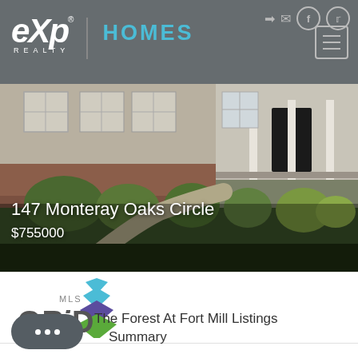eXp REALTY | HOMES
[Figure (photo): Exterior photo of a residential home at 147 Monteray Oaks Circle with brick facade, landscaping, and a curved front walkway]
147 Monteray Oaks Circle
$755000
[Figure (logo): MLS GRID logo with stacked diamond/chevron shapes in teal, purple, and green colors]
[Figure (other): Chat button widget (dark rounded rectangle with three dots)]
The Forest At Fort Mill Listings Summary